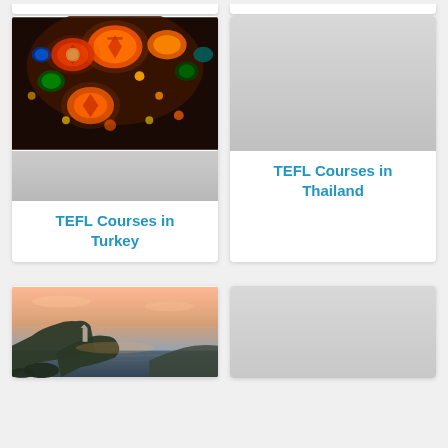[Figure (photo): Partial top card stubs visible at top of page (cropped from above)]
[Figure (photo): Colorful Turkish lanterns/lamps hanging, warm orange and multicolored lights]
TEFL Courses in Turkey
[Figure (photo): Gray placeholder image for Thailand card]
TEFL Courses in Thailand
[Figure (photo): Coastal rocky cliff landscape at dusk/dawn with calm water, moody sky]
[Figure (photo): Gray placeholder image for bottom right card]